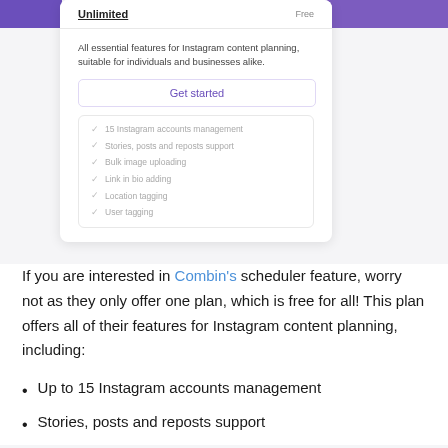[Figure (screenshot): Screenshot of a pricing card for 'Unlimited' plan labeled 'Free', with description text, a 'Get started' button, and a list of features including: 15 Instagram accounts management, Stories, posts and reposts support, Bulk image uploading, Link in bio adding, Location tagging, User tagging. Purple bars visible on left and right sides.]
If you are interested in Combin's scheduler feature, worry not as they only offer one plan, which is free for all! This plan offers all of their features for Instagram content planning, including:
Up to 15 Instagram accounts management
Stories, posts and reposts support